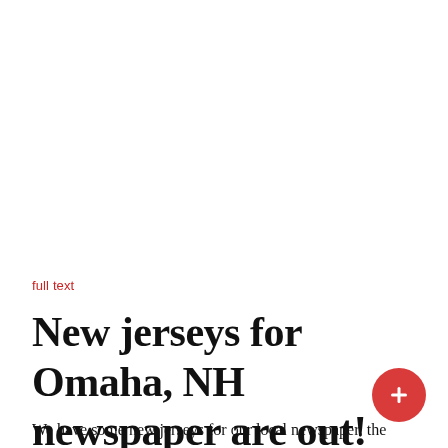full text
New jerseys for Omaha, NH newspaper are out!
We have some new jerseys for our local newspaper, the